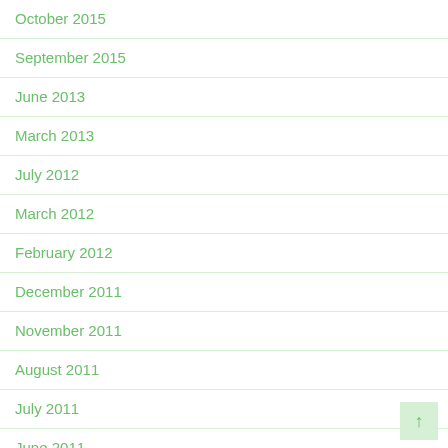October 2015
September 2015
June 2013
March 2013
July 2012
March 2012
February 2012
December 2011
November 2011
August 2011
July 2011
June 2011
May 2011